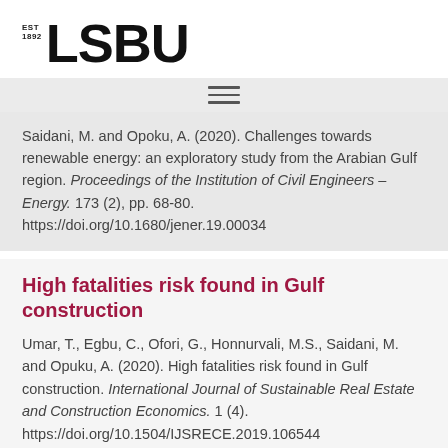EST 1892 LSBU
Saidani, M. and Opoku, A. (2020). Challenges towards renewable energy: an exploratory study from the Arabian Gulf region. Proceedings of the Institution of Civil Engineers – Energy. 173 (2), pp. 68-80. https://doi.org/10.1680/jener.19.00034
High fatalities risk found in Gulf construction
Umar, T., Egbu, C., Ofori, G., Honnurvali, M.S., Saidani, M. and Opuku, A. (2020). High fatalities risk found in Gulf construction. International Journal of Sustainable Real Estate and Construction Economics. 1 (4). https://doi.org/10.1504/IJSRECE.2019.106544